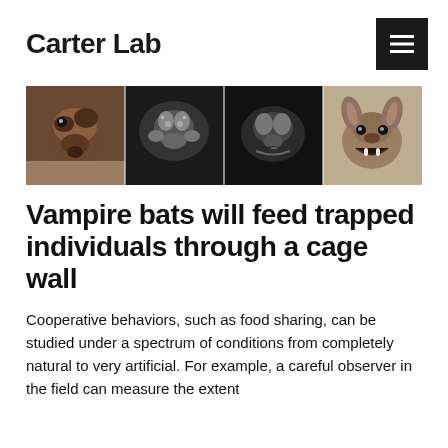Carter Lab
[Figure (photo): Four panel image showing vampire bats: leftmost panel shows a close-up of a bat face in color, second and third panels show black and white MRI or X-ray images of bat anatomy, rightmost panel shows a color close-up of a bat with mouth open showing fangs.]
Vampire bats will feed trapped individuals through a cage wall
Cooperative behaviors, such as food sharing, can be studied under a spectrum of conditions from completely natural to very artificial. For example, a careful observer in the field can measure the extent